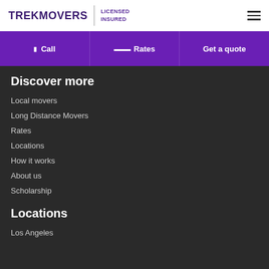TREKMOVERS | LICENSED INSURED
Call | Rates | Get a quote
Discover more
Local movers
Long Distance Movers
Rates
Locations
How it works
About us
Scholarship
Locations
Los Angeles